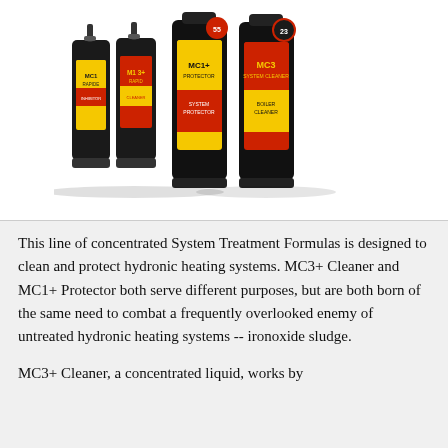[Figure (photo): A lineup of MC1 and MC3 branded heating system treatment product bottles — aerosol cans and liquid bottles with yellow, red and black labels — including MC1 Rapide, MC3+ Protector, and MC3 Cleaner products.]
This line of concentrated System Treatment Formulas is designed to clean and protect hydronic heating systems. MC3+ Cleaner and MC1+ Protector both serve different purposes, but are both born of the same need to combat a frequently overlooked enemy of untreated hydronic heating systems -- ironoxide sludge.
MC3+ Cleaner, a concentrated liquid, works by